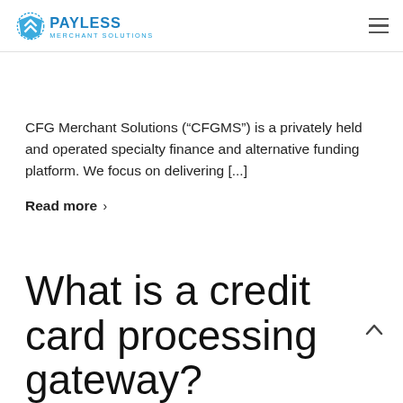Payless Merchant Solutions
CFG Merchant Solutions (“CFGMS”) is a privately held and operated specialty finance and alternative funding platform. We focus on delivering [...]
Read more ›
What is a credit card processing gateway?